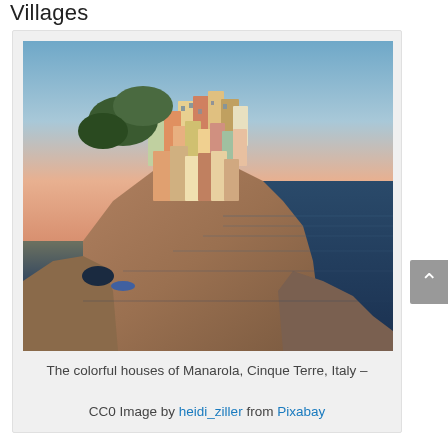Villages
[Figure (photo): Colorful houses of Manarola village perched on rocky cliffs above the sea, Cinque Terre, Italy, at dusk with a warm sunset sky]
The colorful houses of Manarola, Cinque Terre, Italy – CC0 Image by heidi_ziller from Pixabay